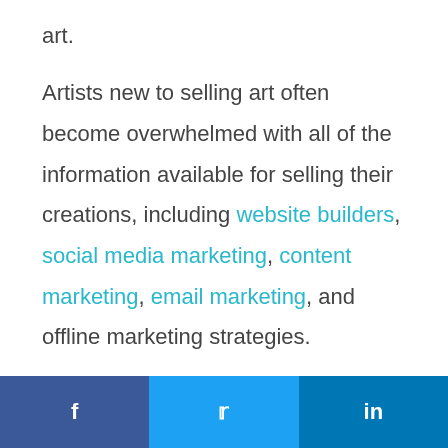art.
Artists new to selling art often become overwhelmed with all of the information available for selling their creations, including website builders, social media marketing, content marketing, email marketing, and offline marketing strategies.
[Figure (infographic): Social media share buttons footer bar with Facebook (dark blue), Twitter (light blue), and LinkedIn (medium blue) icons.]